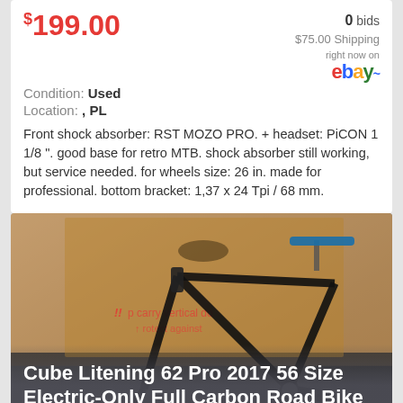$199.00
0 bids
Condition: Used
$75.00 Shipping
right now on ebay
Location: , PL
Front shock absorber: RST MOZO PRO. + headset: PiCON 1 1/8 ". good base for retro MTB. shock absorber still working, but service needed. for wheels size: 26 in. made for professional. bottom bracket: 1,37 x 24 Tpi / 68 mm.
[Figure (photo): Black carbon road bike frameset (Cube Litening 62 Pro 2017) leaning against a cardboard box with shipping warnings visible. White text overlay at bottom.]
Cube Litening 62 Pro 2017 56 Size Electric-Only Full Carbon Road Bike Frameset
$1425.00
0 bids